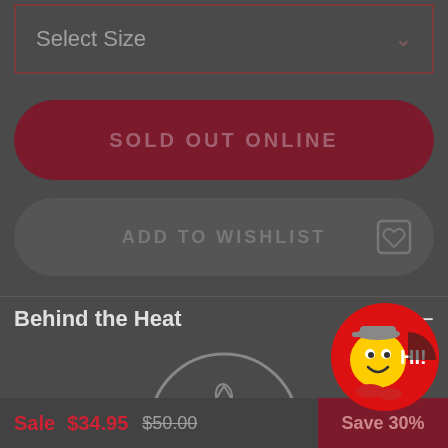Select Size
SOLD OUT ONLINE
ADD TO WISHLIST
Behind the Heat
[Figure (logo): Circular logo with needle and thread icon inside a circle outline]
Sale $34.95 $50.00
Save 30%